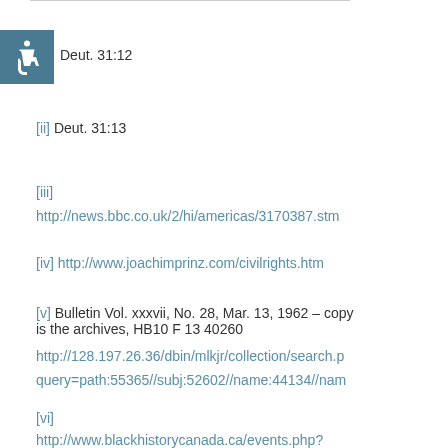[Figure (illustration): Accessibility wheelchair icon in teal/blue square]
Deut. 31:12
[ii]  Deut. 31:13
[iii]
http://news.bbc.co.uk/2/hi/americas/3170387.stm
[iv]  http://www.joachimprinz.com/civilrights.htm
[v] Bulletin Vol. xxxvii, No. 28, Mar. 13, 1962 – copy is the archives, HB10 F 13 40260
http://128.197.26.36/dbin/mlkjr/collection/search.p
query=path:55365//subj:52602//name:44134//nam
[vi]
http://www.blackhistorycanada.ca/events.php?
themeid=21&id=9. The last segregated school in